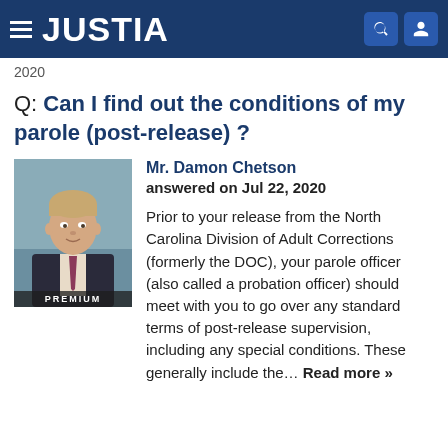JUSTIA
2020
Q: Can I find out the conditions of my parole (post-release) ?
[Figure (photo): Headshot photo of Mr. Damon Chetson, a man in a suit, with a PREMIUM label overlay]
Mr. Damon Chetson
answered on Jul 22, 2020

Prior to your release from the North Carolina Division of Adult Corrections (formerly the DOC), your parole officer (also called a probation officer) should meet with you to go over any standard terms of post-release supervision, including any special conditions. These generally include the… Read more »